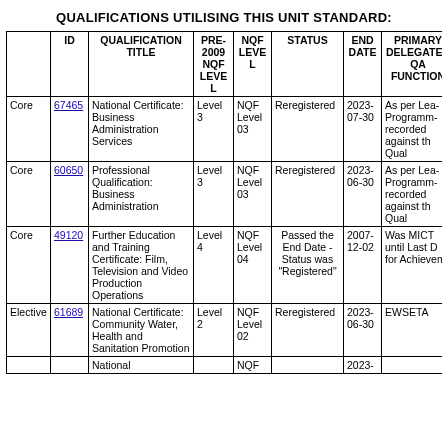QUALIFICATIONS UTILISING THIS UNIT STANDARD:
|  | ID | QUALIFICATION TITLE | PRE-2009 NQF LEVEL | NQF LEVEL | STATUS | END DATE | PRIMARY DELEGATED QA FUNCTION |
| --- | --- | --- | --- | --- | --- | --- | --- |
| Core | 67465 | National Certificate: Business Administration Services | Level 3 | NQF Level 03 | Reregistered | 2023-07-30 | As per Learnership Programme recorded against the Qual |
| Core | 60650 | Professional Qualification: Business Administration | Level 3 | NQF Level 03 | Reregistered | 2023-06-30 | As per Learnership Programme recorded against the Qual |
| Core | 49120 | Further Education and Training Certificate: Film, Television and Video Production Operations | Level 4 | NQF Level 04 | Passed the End Date - Status was "Registered" | 2007-12-02 | Was MICT until Last Date for Achievements |
| Elective | 61689 | National Certificate: Community Water, Health and Sanitation Promotion | Level 2 | NQF Level 02 | Reregistered | 2023-06-30 | EWSETA |
|  |  | National |  | NQF |  | 2023- |  |